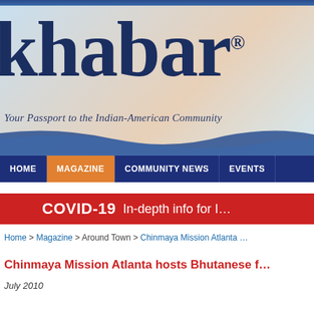[Figure (logo): Khabar magazine logo with tagline 'Your Passport to the Indian-American Community' on a light blue and peach gradient background with wave decoration]
HOME | MAGAZINE | COMMUNITY NEWS | EVENTS
COVID-19 In-depth info for I…
Home > Magazine > Around Town > Chinmaya Mission Atlanta …
Chinmaya Mission Atlanta hosts Bhutanese f…
July 2010